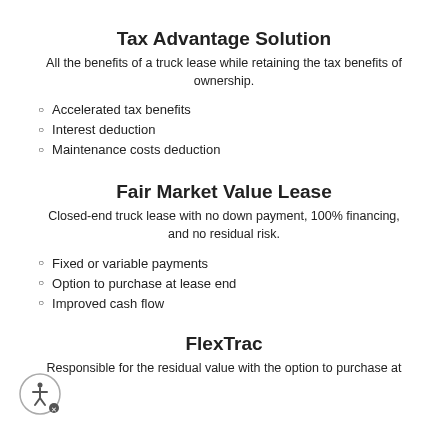Tax Advantage Solution
All the benefits of a truck lease while retaining the tax benefits of ownership.
Accelerated tax benefits
Interest deduction
Maintenance costs deduction
Fair Market Value Lease
Closed-end truck lease with no down payment, 100% financing, and no residual risk.
Fixed or variable payments
Option to purchase at lease end
Improved cash flow
FlexTrac
Responsible for the residual value with the option to purchase at